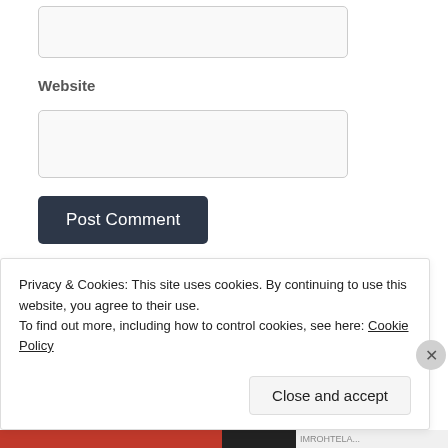[Figure (screenshot): Empty text input box (top, partially visible)]
Website
[Figure (screenshot): Empty text input box for Website field]
Post Comment
Notify me of new comments via email.
Notify me of new posts via email.
Privacy & Cookies: This site uses cookies. By continuing to use this website, you agree to their use.
To find out more, including how to control cookies, see here: Cookie Policy
Close and accept